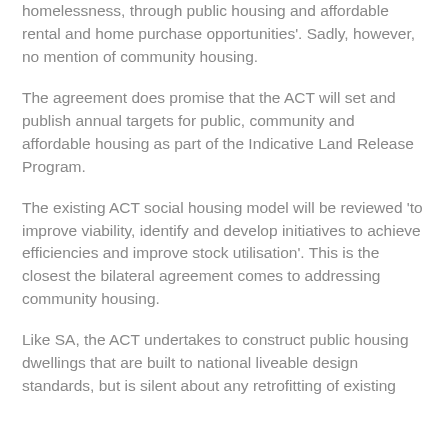homelessness, through public housing and affordable rental and home purchase opportunities'. Sadly, however, no mention of community housing.
The agreement does promise that the ACT will set and publish annual targets for public, community and affordable housing as part of the Indicative Land Release Program.
The existing ACT social housing model will be reviewed 'to improve viability, identify and develop initiatives to achieve efficiencies and improve stock utilisation'. This is the closest the bilateral agreement comes to addressing community housing.
Like SA, the ACT undertakes to construct public housing dwellings that are built to national liveable design standards, but is silent about any retrofitting of existing